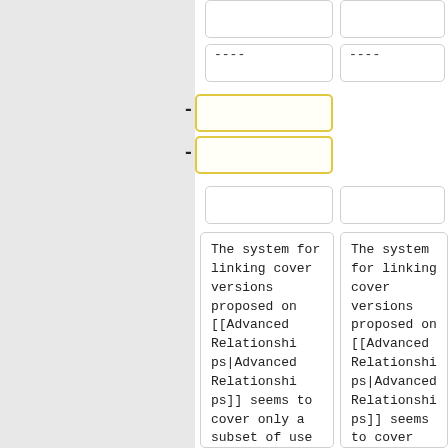----
----
The system for linking cover versions proposed on [[Advanced Relationships|Advanced Relationships]] seems to cover only a subset of use cases
The system for linking cover versions proposed on [[Advanced Relationships|Advanced Relationships]] seems to cover only a subset of use cases